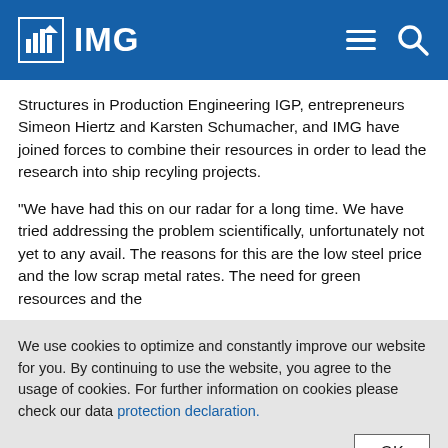IMG
Structures in Production Engineering IGP, entrepreneurs Simeon Hiertz and Karsten Schumacher, and IMG have joined forces to combine their resources in order to lead the research into ship recyling projects.
"We have had this on our radar for a long time. We have tried addressing the problem scientifically, unfortunately not yet to any avail. The reasons for this are the low steel price and the low scrap metal rates. The need for green resources and the
We use cookies to optimize and constantly improve our website for you. By continuing to use the website, you agree to the usage of cookies. For further information on cookies please check our data protection declaration.
Wilko Hugge.